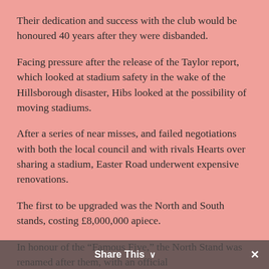Their dedication and success with the club would be honoured 40 years after they were disbanded.
Facing pressure after the release of the Taylor report, which looked at stadium safety in the wake of the Hillsborough disaster, Hibs looked at the possibility of moving stadiums.
After a series of near misses, and failed negotiations with both the local council and with rivals Hearts over sharing a stadium, Easter Road underwent expensive renovations.
The first to be upgraded was the North and South stands, costing £8,000,000 apiece.
In honour of the “Famous Five,” the North Stand was renamed after them, with an official
Share This